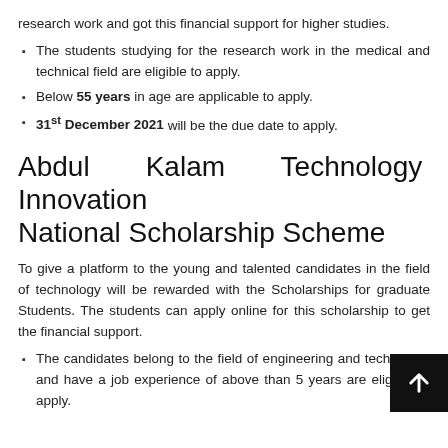research work and got this financial support for higher studies.
The students studying for the research work in the medical and technical field are eligible to apply.
Below 55 years in age are applicable to apply.
31st December 2021 will be the due date to apply.
Abdul Kalam Technology Innovation National Scholarship Scheme
To give a platform to the young and talented candidates in the field of technology will be rewarded with the Scholarships for graduate Students. The students can apply online for this scholarship to get the financial support.
The candidates belong to the field of engineering and technology and have a job experience of above than 5 years are eligible to apply.